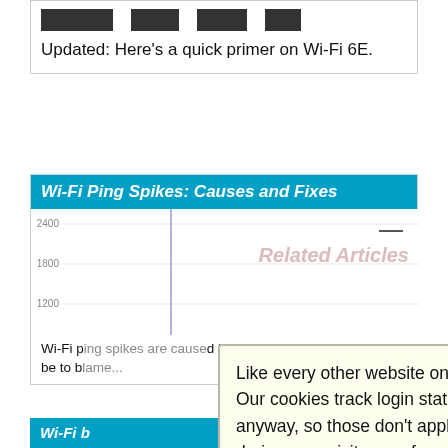[Figure (other): Four dark icon/image blocks in a row at the top of a card]
Updated: Here's a quick primer on Wi-Fi 6E.
Wi-Fi Ping Spikes: Causes and Fixes
[Figure (continuous-plot): Wi-Fi ping spike chart with y-axis values 0, 600, 1200, 1800, 2400. Chart shows ping spikes over time.]
Related Articles
Wi-Fi p[ing spikes are caused] by a poor co[nnection and] could be to b[lame...]
Like every other website on the planet, SmallNetBuilder uses cookies. Our cookies track login status, but we only allow admins to log in anyway, so those don't apply to you. Any other cookies you pick up during your visit come from advertisers, which we don't control.
If you continue to use the site, you agree to tolerate our use of cookies. Thank you!
Wi-Fi [next section]